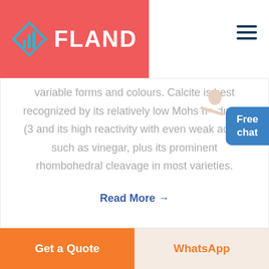[Figure (logo): FLAND logo with geometric diamond/arrow icon in cyan/blue on red/coral background]
variable forms and colours. Calcite is best recognized by its relatively low Mohs hardness (3) and its high reactivity with even weak acids, such as vinegar, plus its prominent rhombohedral cleavage in most varieties.
Read More →
Get a Quote
WhatsApp